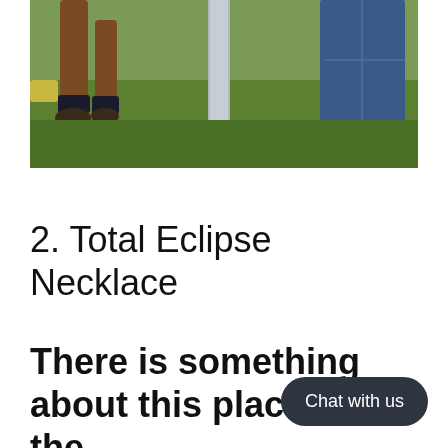[Figure (photo): Outdoor photo showing the lower legs and hooves of a horse on the left side and the bare feet and jeans of a person on the right, standing on a grass lawn near a concrete or metal post]
2. Total Eclipse Necklace
There is something about this place. Is it the